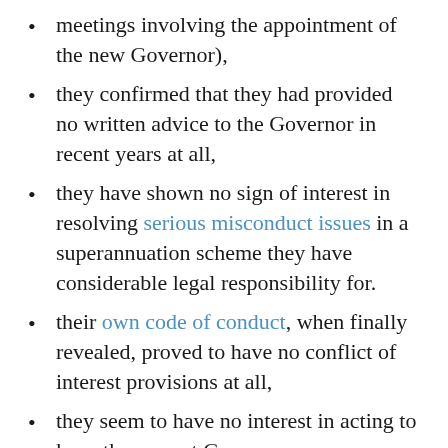meetings involving the appointment of the new Governor),
they confirmed that they had provided no written advice to the Governor in recent years at all,
they have shown no sign of interest in resolving serious misconduct issues in a superannuation scheme they have considerable legal responsibility for.
their own code of conduct, when finally revealed, proved to have no conflict of interest provisions at all,
they seem to have no interest in acting to keep the current Governor on reservation, and
just this week, their chair has attempted